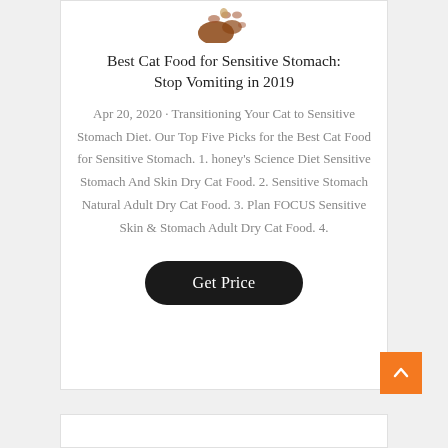[Figure (photo): Partial view of a cat paw or cat image cropped at top of card]
Best Cat Food for Sensitive Stomach: Stop Vomiting in 2019
Apr 20, 2020 · Transitioning Your Cat to Sensitive Stomach Diet. Our Top Five Picks for the Best Cat Food for Sensitive Stomach. 1. honey's Science Diet Sensitive Stomach And Skin Dry Cat Food. 2. Sensitive Stomach Natural Adult Dry Cat Food. 3. Plan FOCUS Sensitive Skin & Stomach Adult Dry Cat Food. 4.
Get Price